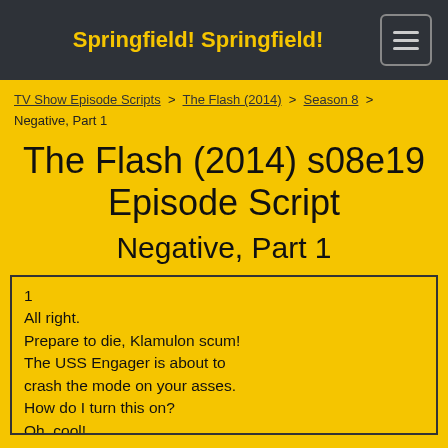Springfield! Springfield!
TV Show Episode Scripts > The Flash (2014) > Season 8 > Negative, Part 1
The Flash (2014) s08e19 Episode Script Negative, Part 1
1
All right.
Prepare to die, Klamulon scum!
The USS Engager is about to
crash the mode on your asses.
How do I turn this on?
Oh, cool!
Okay, all right. Here we go.
Oh, come on, why do I have